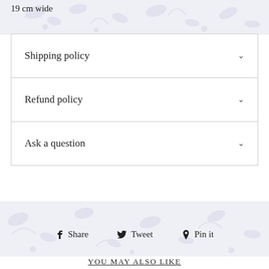19 cm wide
Shipping policy
Refund policy
Ask a question
Share  Tweet  Pin it
YOU MAY ALSO LIKE